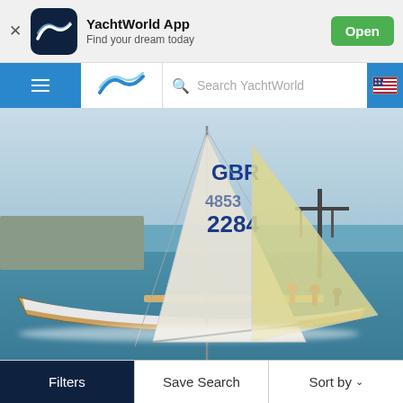YachtWorld App — Find your dream today
Search YachtWorld
[Figure (photo): A sailing yacht with white sails marked 'GBR' and '2284' racing on open water with crew visible on deck and a harbour in the background.]
Filters   Save Search   Sort by